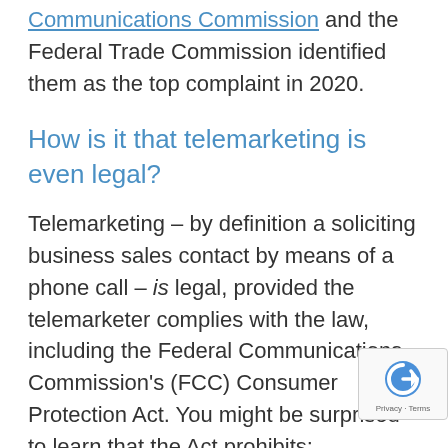Communications Commission and the Federal Trade Commission identified them as the top complaint in 2020.
How is it that telemarketing is even legal?
Telemarketing – by definition a soliciting business sales contact by means of a phone call – is legal, provided the telemarketer complies with the law, including the Federal Communications Commission's (FCC) Consumer Protection Act. You might be surprised to learn that the Act prohibits: